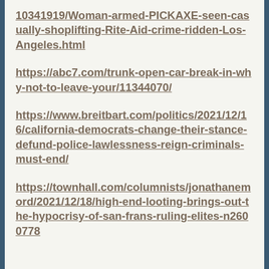10341919/Woman-armed-PICKAXE-seen-casually-shoplifting-Rite-Aid-crime-ridden-Los-Angeles.html
https://abc7.com/trunk-open-car-break-in-why-not-to-leave-your/11344070/
https://www.breitbart.com/politics/2021/12/16/california-democrats-change-their-stance-defund-police-lawlessness-reign-criminals-must-end/
https://townhall.com/columnists/jonathanemord/2021/12/18/high-end-looting-brings-out-the-hypocrisy-of-san-frans-ruling-elites-n2600778